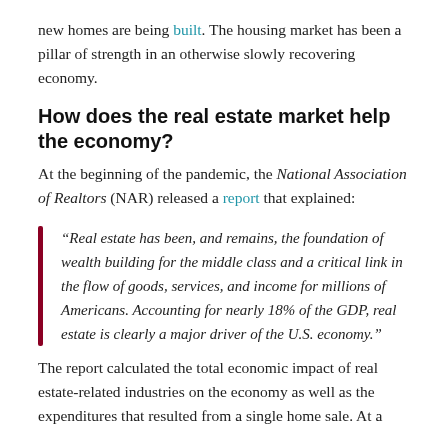new homes are being built. The housing market has been a pillar of strength in an otherwise slowly recovering economy.
How does the real estate market help the economy?
At the beginning of the pandemic, the National Association of Realtors (NAR) released a report that explained:
“Real estate has been, and remains, the foundation of wealth building for the middle class and a critical link in the flow of goods, services, and income for millions of Americans. Accounting for nearly 18% of the GDP, real estate is clearly a major driver of the U.S. economy.”
The report calculated the total economic impact of real estate-related industries on the economy as well as the expenditures that resulted from a single home sale. At a